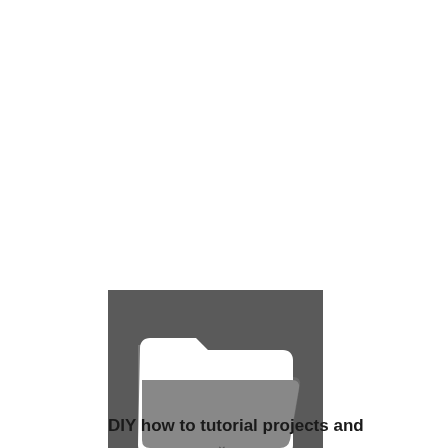[Figure (illustration): Dark grey square icon with a white open folder graphic above and the label 'Projects' in white bold text at the bottom.]
DIY how to tutorial projects and